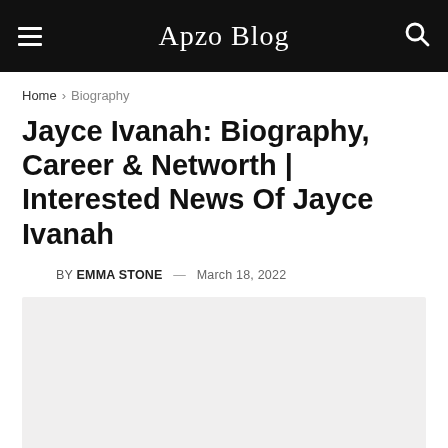Apzo Blog
Home > Biography
Jayce Ivanah: Biography, Career & Networth | Interested News Of Jayce Ivanah
BY EMMA STONE — March 18, 2022
[Figure (photo): Featured image placeholder (light gray box)]